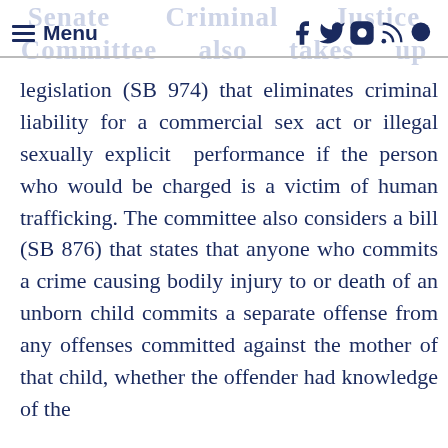Senate Criminal Justice Committee also takes up
legislation (SB 974) that eliminates criminal liability for a commercial sex act or illegal sexually explicit performance if the person who would be charged is a victim of human trafficking. The committee also considers a bill (SB 876) that states that anyone who commits a crime causing bodily injury to or death of an unborn child commits a separate offense from any offenses committed against the mother of that child, whether the offender had knowledge of the